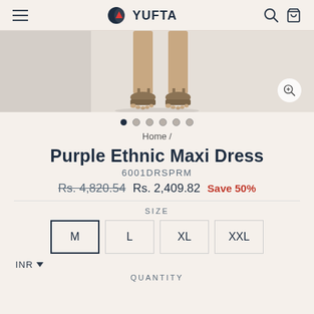YUFTA
[Figure (photo): Product image showing feet/legs of a model wearing sandals, bottom portion of a maxi dress visible, against a light beige background]
Home /
Purple Ethnic Maxi Dress
6001DRSPRM
Rs. 4,820.54  Rs. 2,409.82  Save 50%
SIZE
M   L   XL   XXL
INR
QUANTITY